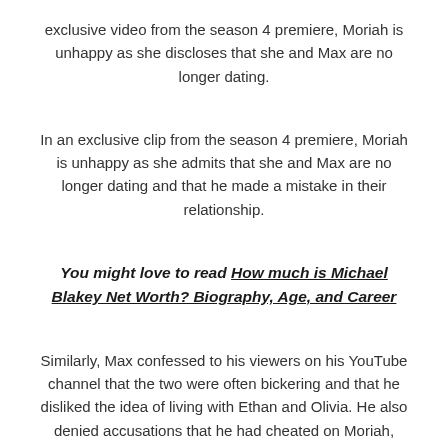exclusive video from the season 4 premiere, Moriah is unhappy as she discloses that she and Max are no longer dating.
In an exclusive clip from the season 4 premiere, Moriah is unhappy as she admits that she and Max are no longer dating and that he made a mistake in their relationship.
You might love to read How much is Michael Blakey Net Worth? Biography, Age, and Career
Similarly, Max confessed to his viewers on his YouTube channel that the two were often bickering and that he disliked the idea of living with Ethan and Olivia. He also denied accusations that he had cheated on Moriah, stating he "stepped some boundaries."